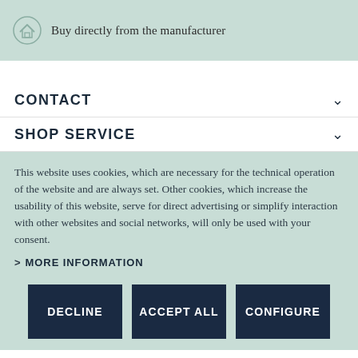Buy directly from the manufacturer
CONTACT
SHOP SERVICE
This website uses cookies, which are necessary for the technical operation of the website and are always set. Other cookies, which increase the usability of this website, serve for direct advertising or simplify interaction with other websites and social networks, will only be used with your consent.
> MORE INFORMATION
DECLINE
ACCEPT ALL
CONFIGURE